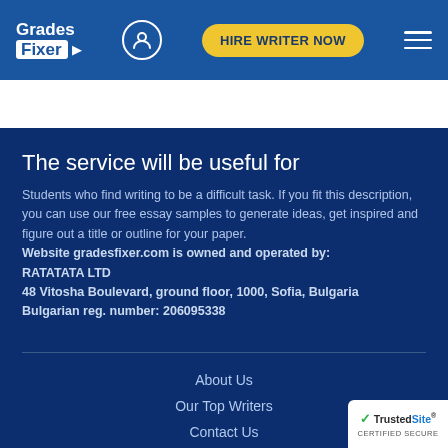Grades Fixer — HIRE WRITER NOW
The service will be useful for
Students who find writing to be a difficult task. If you fit this description, you can use our free essay samples to generate ideas, get inspired and figure out a title or outline for your paper. Website gradesfixer.com is owned and operated by: RATATATA LTD 48 Vitosha Boulevard, ground floor, 1000, Sofia, Bulgaria Bulgarian reg. number: 206095338
About Us
Our Top Writers
Contact Us